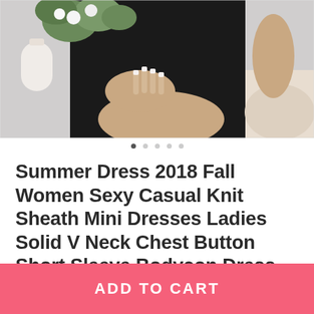[Figure (photo): Product photo of a woman wearing a black bodycon mini dress, seated, with white nail manicure visible. Background shows flowers and candle decor.]
Summer Dress 2018 Fall Women Sexy Casual Knit Sheath Mini Dresses Ladies Solid V Neck Chest Button Short Sleeve Bodycon Dress
★★★★½ ( 100 Reviews )
✓ Will be shipped in 10 to 20 days.
Quantity:
ADD TO CART